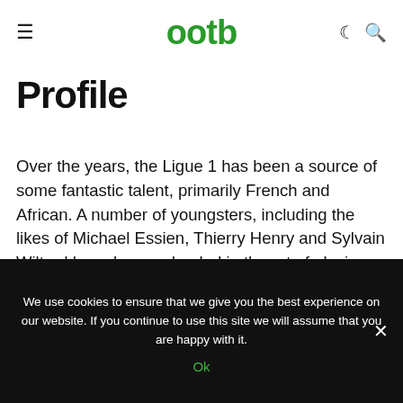ootb
Profile
Over the years, the Ligue 1 has been a source of some fantastic talent, primarily French and African. A number of youngsters, including the likes of Michael Essien, Thierry Henry and Sylvain Wiltord have been schooled in the art of playing the beautiful game on these shores. Cameroon born defender, Samuel Umtiti is another youngster who hopes to make it to the big time.
We use cookies to ensure that we give you the best experience on our website. If you continue to use this site we will assume that you are happy with it.
Ok